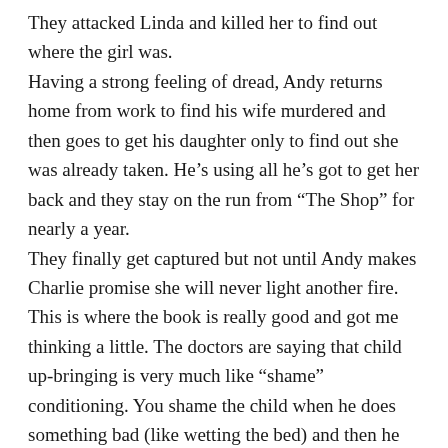They attacked Linda and killed her to find out where the girl was.
Having a strong feeling of dread, Andy returns home from work to find his wife murdered and then goes to get his daughter only to find out she was already taken. He's using all he's got to get her back and they stay on the run from “The Shop” for nearly a year.
They finally get captured but not until Andy makes Charlie promise she will never light another fire.
This is where the book is really good and got me thinking a little. The doctors are saying that child up-bringing is very much like “shame” conditioning. You shame the child when he does something bad (like wetting the bed) and then he will know not to do it again. And unless the parental figure of control is destroyed, the child will always feel the “wrongness” of